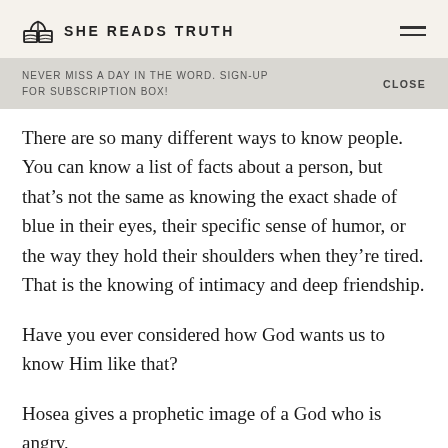SHE READS TRUTH
NEVER MISS A DAY IN THE WORD. SIGN-UP FOR SUBSCRIPTION BOX!  CLOSE
There are so many different ways to know people. You can know a list of facts about a person, but that’s not the same as knowing the exact shade of blue in their eyes, their specific sense of humor, or the way they hold their shoulders when they’re tired. That is the knowing of intimacy and deep friendship.
Have you ever considered how God wants us to know Him like that?
Hosea gives a prophetic image of a God who is angry,